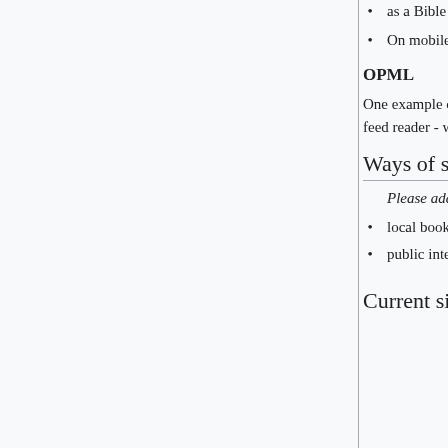as a Bible bookmark, I'm anxious to counter limitations of XBEL.
On mobile devices, processing complex format with a lots of bookmarks can affect performance.
OPML
One example of the use of OPML for bookmark import/export is the Sage lightweight RSS and Atom feed reader - which is an add-on for Mozilla Firefox.
Ways of sharing
Please add your ideas here.
local bookmark file replacement
public internet bookmark sharing service: google.com/bookmarks
Current situation